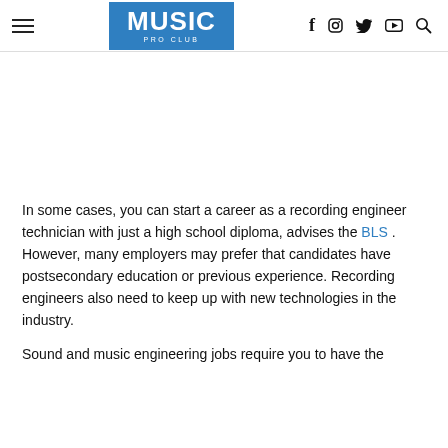MUSIC PRO CLUB — social icons: f, instagram, twitter, youtube, search
In some cases, you can start a career as a recording engineer technician with just a high school diploma, advises the BLS. However, many employers may prefer that candidates have postsecondary education or previous experience. Recording engineers also need to keep up with new technologies in the industry.
Sound and music engineering jobs require you to have the